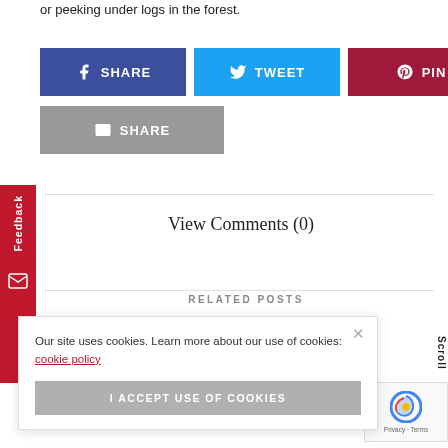or peeking under logs in the forest.
[Figure (infographic): Social share buttons: Facebook SHARE (blue), Twitter TWEET (light blue), Pinterest PIN (dark red), and Email SHARE (gray)]
[Figure (infographic): Red Feedback tab on the left side of the page with vertical text and envelope icon]
View Comments (0)
RELATED POSTS
Our site uses cookies. Learn more about our use of cookies: cookie policy
I ACCEPT USE OF COOKIES